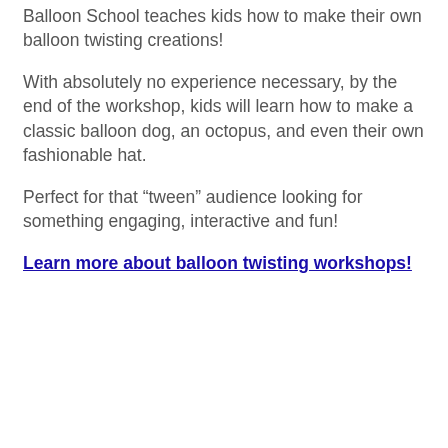Balloon School teaches kids how to make their own balloon twisting creations!
With absolutely no experience necessary, by the end of the workshop, kids will learn how to make a classic balloon dog, an octopus, and even their own fashionable hat.
Perfect for that “tween” audience looking for something engaging, interactive and fun!
Learn more about balloon twisting workshops!